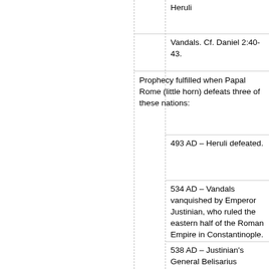Heruli
Vandals. Cf. Daniel 2:40-43.
Prophecy fulfilled when Papal Rome (little horn) defeats three of these nations:
493 AD – Heruli defeated.
534 AD – Vandals vanquished by Emperor Justinian, who ruled the eastern half of the Roman Empire in Constantinople.
538 AD – Justinian's General Belisarius removes Ostrogothic power from Rome during a 20 year campaign against the Ostrogoths in Italy.
These 3 nations were supporters of Arianism, the most formidable rival